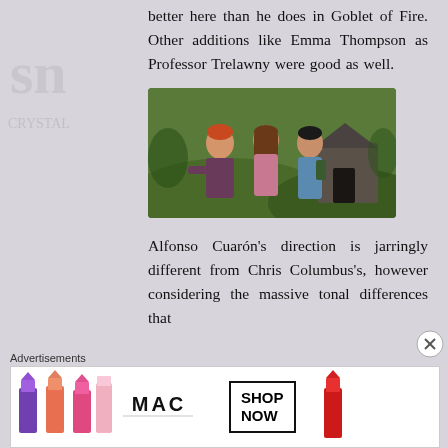better here than he does in Goblet of Fire. Other additions like Emma Thompson as Professor Trelawny were good as well.
[Figure (photo): Film still showing three young characters (Ron, Hermione, Harry) standing outdoors near a stone structure in Harry Potter and the Prisoner of Azkaban]
Alfonso Cuarón's direction is jarringly different from Chris Columbus's, however considering the massive tonal differences that
Advertisements
[Figure (photo): MAC Cosmetics advertisement banner showing lipsticks in purple, pink, coral colors with MAC logo and SHOP NOW button]